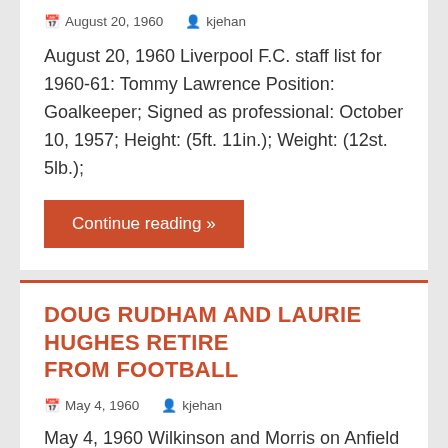August 20, 1960   kjehan
August 20, 1960 Liverpool F.C. staff list for 1960-61: Tommy Lawrence Position: Goalkeeper; Signed as professional: October 10, 1957; Height: (5ft. 11in.); Weight: (12st. 5lb.);
Continue reading »
DOUG RUDHAM AND LAURIE HUGHES RETIRE FROM FOOTBALL
May 4, 1960   kjehan
May 4, 1960 Wilkinson and Morris on Anfield